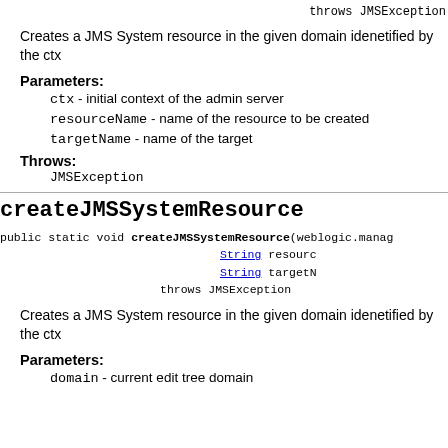throws JMSException
Creates a JMS System resource in the given domain idenetified by the ctx
Parameters:
ctx - initial context of the admin server
resourceName - name of the resource to be created
targetName - name of the target
Throws:
JMSException
createJMSSystemResource
public static void createJMSSystemResource(weblogic.manag... String resourc... String targetN... throws JMSException
Creates a JMS System resource in the given domain idenetified by the ctx
Parameters:
domain - current edit tree domain